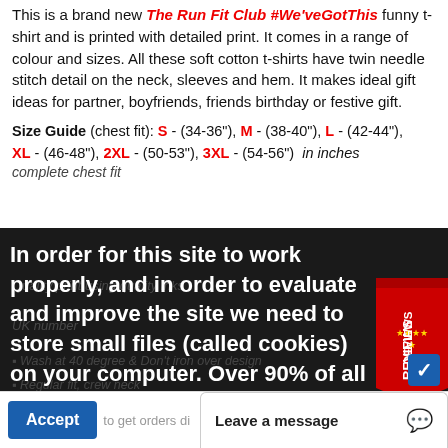This is a brand new The Run Fit Club #We'veGotThis funny t-shirt and is printed with detailed print. It comes in a range of colour and sizes. All these soft cotton t-shirts have twin needle stitch detail on the neck, sleeves and hem. It makes ideal gift ideas for partner, boyfriends, friends birthday or festive gift.
Size Guide (chest fit): S - (34-36"), M - (38-40"), L - (42-44"), XL - (46-48"), 2XL - (50-53"), 3XL - (54-56") in inches
complete chest fit
In order for this site to work properly, and in order to evaluate and improve the site we need to store small files (called cookies) on your computer. Over 90% of all websites do this, however, on the 25th of May 2018 we are required by EU regulations to obtain your consent first. What do you say?. Read More
Accept
Leave a message